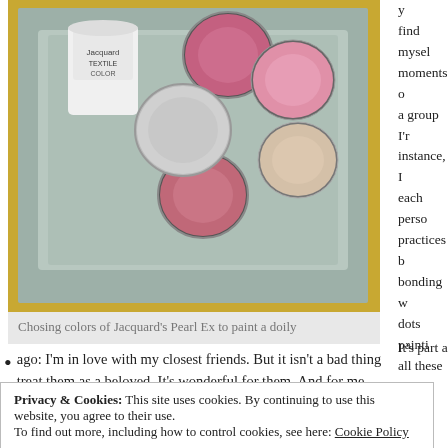[Figure (photo): Photo of Jacquard Pearl Ex pigment containers - a white jar and several open round tins with pink, purple, and cream colored pigments, arranged on a grey-blue fabric/doily background with yellow visible at edges]
Chosing colors of Jacquard's Pearl Ex to paint a doily
y find mysel moments o a group I'r instance, I each perso practices b bonding w dots painti all these u
It's part a
ago: I'm in love with my closest friends. But it isn't a bad thing treat them as a beloved. It's wonderful for them. And for me.
I no se ds
Privacy & Cookies: This site uses cookies. By continuing to use this website, you agree to their use. To find out more, including how to control cookies, see here: Cookie Policy
Close and accept
element of romance